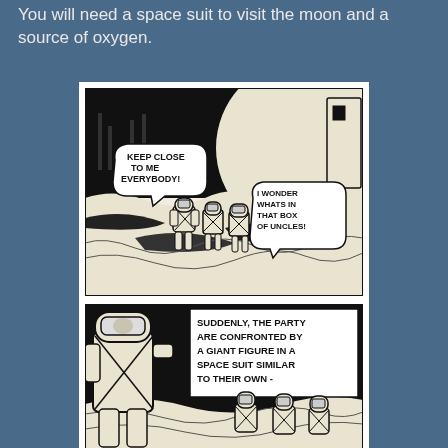You will need a space suit to visit the moon and a source of oxygen.
[Figure (illustration): Black and white comic panel showing astronauts in space suits on the moon surface with a large spherical moon in background and a rocket. Speech bubbles read 'KEEP CLOSE TO ME EVERYBODY!' and 'I WONDER WHATS IN THAT BOX OF UNCLES!']
[Figure (illustration): Black and white comic panel showing a giant figure in a space suit confronting a party. Narrative text box reads 'SUDDENLY, THE PARTY ARE CONFRONTED BY A GIANT FIGURE IN A SPACE SUIT SIMILAR TO THEIR OWN -']